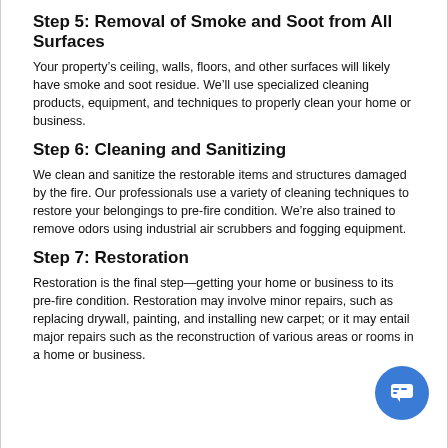Step 5: Removal of Smoke and Soot from All Surfaces
Your property’s ceiling, walls, floors, and other surfaces will likely have smoke and soot residue. We’ll use specialized cleaning products, equipment, and techniques to properly clean your home or business.
Step 6: Cleaning and Sanitizing
We clean and sanitize the restorable items and structures damaged by the fire. Our professionals use a variety of cleaning techniques to restore your belongings to pre-fire condition. We’re also trained to remove odors using industrial air scrubbers and fogging equipment.
Step 7: Restoration
Restoration is the final step—getting your home or business to its pre-fire condition. Restoration may involve minor repairs, such as replacing drywall, painting, and installing new carpet; or it may entail major repairs such as the reconstruction of various areas or rooms in a home or business.